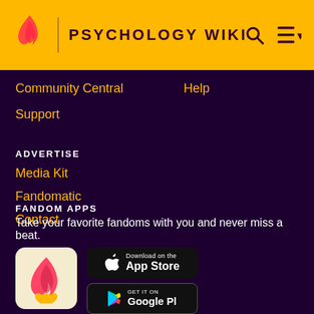PSYCHOLOGY WIKI
Community Central
Help
Support
ADVERTISE
Media Kit
Fandomatic
Contact
FANDOM APPS
Take your favorite fandoms with you and never miss a beat.
[Figure (logo): Fandom app icon - pink/red flame with gold heart on light background]
[Figure (screenshot): Download on the App Store button]
[Figure (screenshot): Get it on Google Play button]